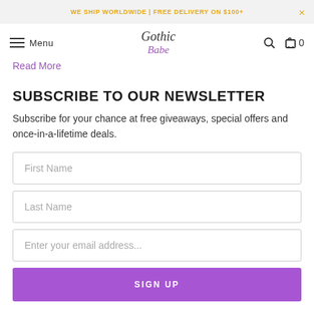WE SHIP WORLDWIDE | FREE DELIVERY ON $100+
[Figure (screenshot): Gothic Babe logo with navigation menu icon, search icon, and cart showing 0 items]
Read More
SUBSCRIBE TO OUR NEWSLETTER
Subscribe for your chance at free giveaways, special offers and once-in-a-lifetime deals.
First Name
Last Name
Enter your email address...
SIGN UP